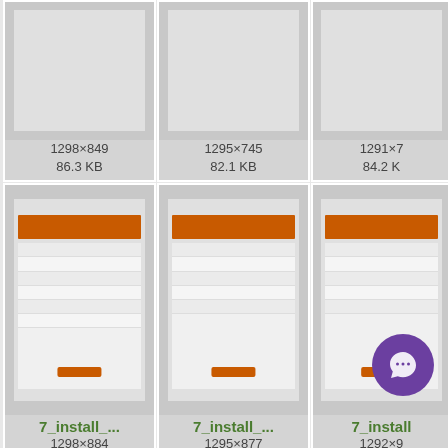[Figure (screenshot): Thumbnail grid of software screenshots labeled 7_install_... with dimensions and file sizes. Row 1 (top, partial): 1298×849 / 86.3 KB, 1295×745 / 82.1 KB, 1291×? / 84.2 KB. Row 2: 7_install_... 1298×884 / 87.8 KB, 7_install_... 1295×877 / 98.8 KB, 7_install_... 1292×? / 110.7 KB. Row 3 (partial): 7_install_... 1296×622 / ?, 7_install_... 1296×1072 / ?, 7_install_... 1299×? / ?. A purple circular chat button overlays the bottom-right area.]